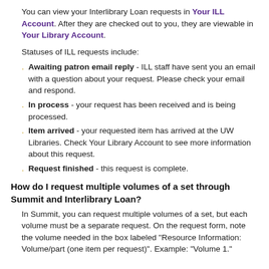You can view your Interlibrary Loan requests in Your ILL Account. After they are checked out to you, they are viewable in Your Library Account.
Statuses of ILL requests include:
Awaiting patron email reply - ILL staff have sent you an email with a question about your request. Please check your email and respond.
In process - your request has been received and is being processed.
Item arrived - your requested item has arrived at the UW Libraries. Check Your Library Account to see more information about this request.
Request finished - this request is complete.
How do I request multiple volumes of a set through Summit and Interlibrary Loan?
In Summit, you can request multiple volumes of a set, but each volume must be a separate request. On the request form, note the volume needed in the box labeled "Resource Information:  Volume/part (one item per request)". Example: "Volume 1."